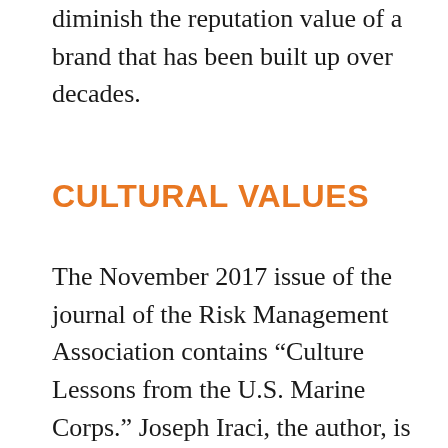diminish the reputation value of a brand that has been built up over decades.
CULTURAL VALUES
The November 2017 issue of the journal of the Risk Management Association contains “Culture Lessons from the U.S. Marine Corps.” Joseph Iraci, the author, is a former Marine and now risk manager in a prominent financial services organization. He believes that too often culture and the organization’s values don’t progress beyond